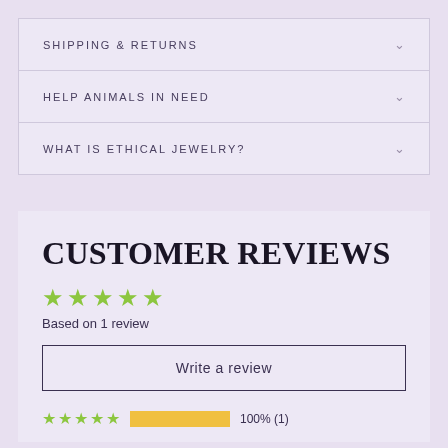SHIPPING & RETURNS
HELP ANIMALS IN NEED
WHAT IS ETHICAL JEWELRY?
CUSTOMER REVIEWS
Based on 1 review
Write a review
100% (1)